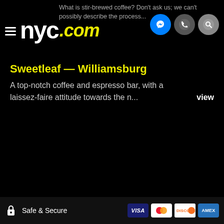nyc.com navigation header with logo and icons
What is stir-brewed coffee? Don't ask us; we can't possibly describe the process...
Sweetleaf — Williamsburg
A top-notch coffee and espresso bar, with a laissez-faire attitude towards the n... view
Safe & Secure — Visa, Mastercard, Discover, American Express accepted